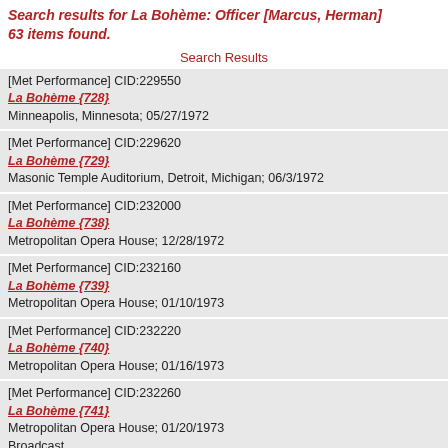Search results for La Bohème: Officer [Marcus, Herman] 63 items found.
Search Results
[Met Performance] CID:229550
La Bohème {728}
Minneapolis, Minnesota; 05/27/1972
[Met Performance] CID:229620
La Bohème {729}
Masonic Temple Auditorium, Detroit, Michigan; 06/3/1972
[Met Performance] CID:232000
La Bohème {738}
Metropolitan Opera House; 12/28/1972
[Met Performance] CID:232160
La Bohème {739}
Metropolitan Opera House; 01/10/1973
[Met Performance] CID:232220
La Bohème {740}
Metropolitan Opera House; 01/16/1973
[Met Performance] CID:232260
La Bohème {741}
Metropolitan Opera House; 01/20/1973
Broadcast
[Met Performance] CID:232340
La Bohème {742}
Metropolitan Opera House; 01/27/1973
[Met Performance] CID:232380